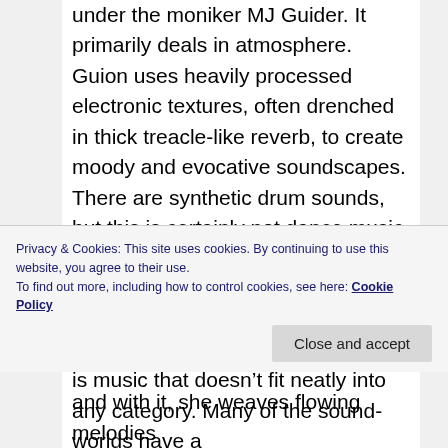under the moniker MJ Guider. It primarily deals in atmosphere. Guion uses heavily processed electronic textures, often drenched in thick treacle-like reverb, to create moody and evocative soundscapes. There are synthetic drum sounds, but this is certainly not dance music. The emotion-laden washy chord sequences recall the 1980s “Gothic” music and perhaps the “shoegaze” that followed in its footsteps, but this is music that doesn’t fit neatly into any category. Many of the sound-worlds have a
Privacy & Cookies: This site uses cookies. By continuing to use this website, you agree to their use.
To find out more, including how to control cookies, see here: Cookie Policy
and with it, she weaves flowing melodies